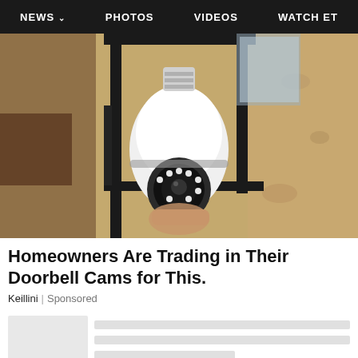NEWS  PHOTOS  VIDEOS  WATCH ET
[Figure (photo): A camera shaped like a light bulb installed inside a black outdoor lantern fixture mounted on a textured stucco wall.]
Homeowners Are Trading in Their Doorbell Cams for This.
Keillini | Sponsored
[Figure (other): Partial content card skeleton with thumbnail placeholder and grey line placeholders for text.]